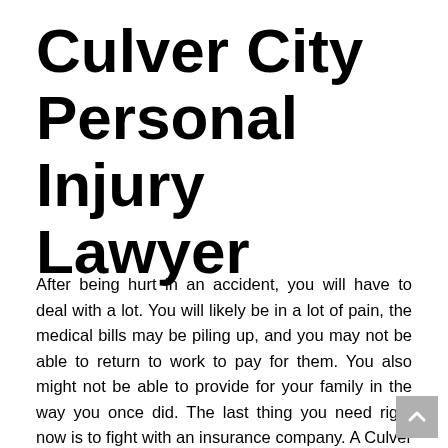Culver City Personal Injury Lawyer
After being hurt in an accident, you will have to deal with a lot. You will likely be in a lot of pain, the medical bills may be piling up, and you may not be able to return to work to pay for them. You also might not be able to provide for your family in the way you once did. The last thing you need right now is to fight with an insurance company. A Culver City personal injury lawyer can handle every detail of your claim for you and help you obtain the full damages you deserve.